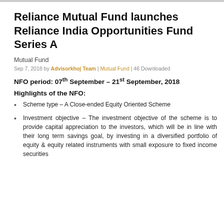Reliance Mutual Fund launches Reliance India Opportunities Fund Series A
Mutual Fund
Sep 7, 2018 by Advisorkhoj Team | Mutual Fund | 46 Downloaded
NFO period: 07th September – 21st September, 2018
Highlights of the NFO:
Scheme type – A Close-ended Equity Oriented Scheme
Investment objective – The investment objective of the scheme is to provide capital appreciation to the investors, which will be in line with their long term savings goal, by investing in a diversified portfolio of equity & equity related instruments with small exposure to fixed income securities